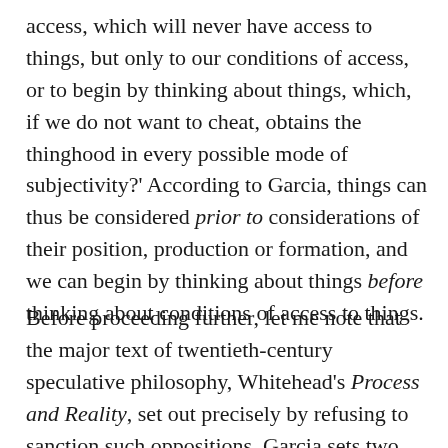access, which will never have access to things, but only to our conditions of access, or to begin by thinking about things, which, if we do not want to cheat, obtains the thinghood in every possible mode of subjectivity?' According to Garcia, things can thus be considered prior to considerations of their position, production or formation, and we can begin by thinking about things before thinking about conditions of access to things.
Before proceeding further, let me note that the major text of twentieth-century speculative philosophy, Whitehead's Process and Reality, set out precisely by refusing to sanction such oppositions. Garcia sets two methodological beginnings against one another, one speculative and the other critical. But for Whitehead,